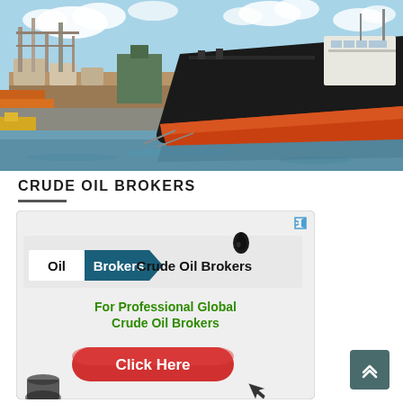[Figure (photo): Aerial/dock view of a large black-hulled oil tanker ship with orange/red lower hull, docked at an industrial port with oil refinery infrastructure, cranes, and piping visible on the left. Blue sky with clouds in background.]
CRUDE OIL BROKERS
[Figure (screenshot): Advertisement banner for Oil Brokers / Crude Oil Brokers website. Shows 'Oil Brokers' badge in blue and white with arrow shape, 'Crude Oil Brokers' text and oil drop icon, green text 'For Professional Global Crude Oil Brokers', and a red 'Click Here' button. Small ad icon (triangle/speaker) in top right corner.]